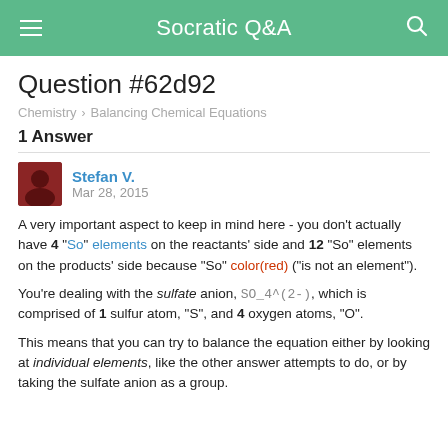Socratic Q&A
Question #62d92
Chemistry > Balancing Chemical Equations
1 Answer
Stefan V. Mar 28, 2015
A very important aspect to keep in mind here - you don't actually have 4 "So" elements on the reactants' side and 12 "So" elements on the products' side because "So" color(red)("is not an element").
You're dealing with the sulfate anion, SO_4^(2-), which is comprised of 1 sulfur atom, "S", and 4 oxygen atoms, "O".
This means that you can try to balance the equation either by looking at individual elements, like the other answer attempts to do, or by taking the sulfate anion as a group.